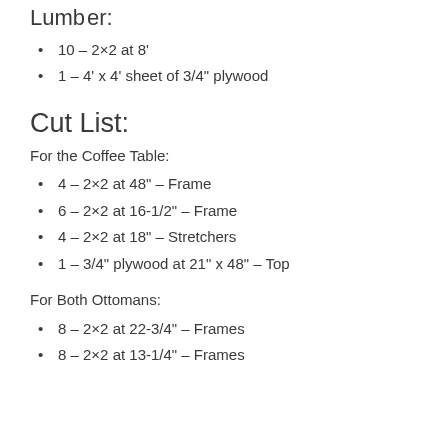10 – 2×2 at 8'
1 – 4' x 4' sheet of 3/4" plywood
Cut List:
For the Coffee Table:
4 – 2×2 at 48" – Frame
6 – 2×2 at 16-1/2" – Frame
4 – 2×2 at 18" – Stretchers
1 – 3/4" plywood at 21" x 48" – Top
For Both Ottomans:
8 – 2×2 at 22-3/4" – Frames
8 – 2×2 at 13-1/4" – Frames